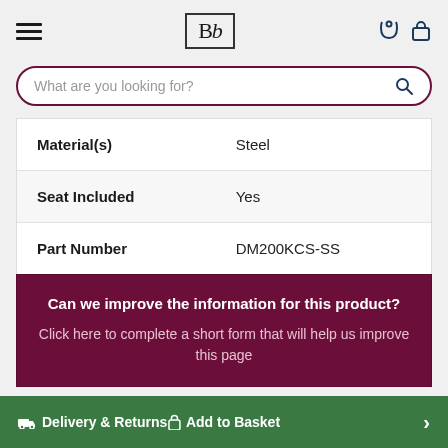[Figure (logo): Bb logo in a bordered box, retailer branding]
What are you looking for?
| Attribute | Value |
| --- | --- |
| Material(s) | Steel |
| Seat Included | Yes |
| Part Number | DM200KCS-SS |
Can we improve the information for this product? Click here to complete a short form that will help us improve this page
Delivery & Returns  Add to Basket